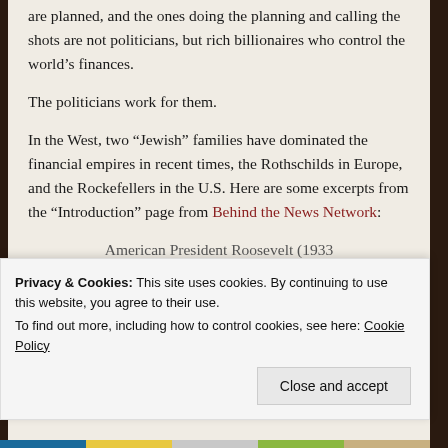are planned, and the ones doing the planning and calling the shots are not politicians, but rich billionaires who control the world's finances.
The politicians work for them.
In the West, two “Jewish” families have dominated the financial empires in recent times, the Rothschilds in Europe, and the Rockefellers in the U.S. Here are some excerpts from the “Introduction” page from Behind the News Network:
American President Roosevelt (1933
Privacy & Cookies: This site uses cookies. By continuing to use this website, you agree to their use.
To find out more, including how to control cookies, see here: Cookie Policy
Close and accept